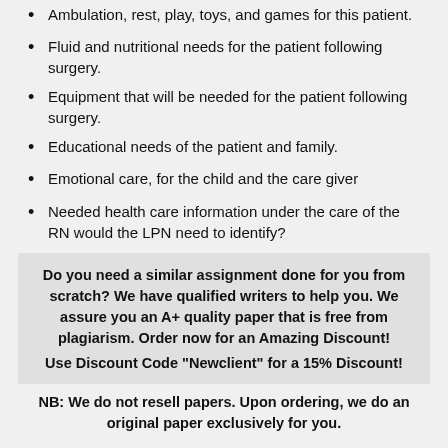Ambulation, rest, play, toys, and games for this patient.
Fluid and nutritional needs for the patient following surgery.
Equipment that will be needed for the patient following surgery.
Educational needs of the patient and family.
Emotional care, for the child and the care giver
Needed health care information under the care of the RN would the LPN need to identify?
Do you need a similar assignment done for you from scratch? We have qualified writers to help you. We assure you an A+ quality paper that is free from plagiarism. Order now for an Amazing Discount! Use Discount Code "Newclient" for a 15% Discount!
NB: We do not resell papers. Upon ordering, we do an original paper exclusively for you.